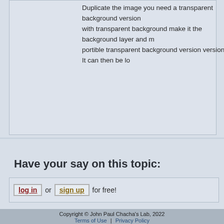Duplicate the image you need a transparent background version with transparent background make it the background layer and m portible transparent background version version. It can then be lo
Have your say on this topic:
log in or sign up for free!
Copyright © John Paul Chacha's Lab, 2022 | Terms of Use | Privacy Policy